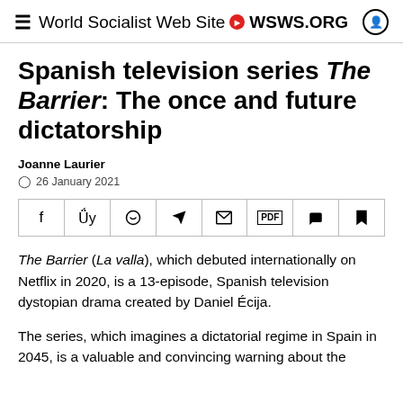World Socialist Web Site WSWS.ORG
Spanish television series The Barrier: The once and future dictatorship
Joanne Laurier
26 January 2021
[Figure (other): Social sharing toolbar with icons for Facebook, Twitter, WhatsApp, Telegram, Email, PDF, Comments, and Bookmark]
The Barrier (La valla), which debuted internationally on Netflix in 2020, is a 13-episode, Spanish television dystopian drama created by Daniel Écija.
The series, which imagines a dictatorial regime in Spain in 2045, is a valuable and convincing warning about the